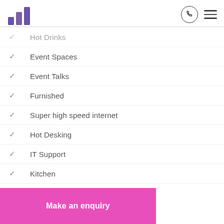Logo and navigation header
Hot Drinks
Event Spaces
Event Talks
Furnished
Super high speed internet
Hot Desking
IT Support
Kitchen
Secure Lockers
Mail Forwarding
Meeting Rooms
Phone Booths
Make an enquiry